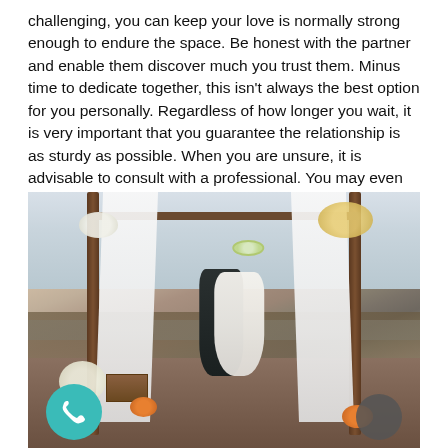challenging, you can keep your love is normally strong enough to endure the space. Be honest with the partner and enable them discover much you trust them. Minus time to dedicate together, this isn't always the best option for you personally. Regardless of how longer you wait, it is very important that you guarantee the relationship is as sturdy as possible. When you are unsure, it is advisable to consult with a professional. You may even must make sure your partner understands your supply.
[Figure (photo): A couple kissing under a rustic wooden wedding arch draped with white fabric, decorated with flowers. Outdoor setting near a lake with autumn foliage. Orange pumpkins and floral arrangements at the base. A teal phone icon button overlays the bottom-left corner.]